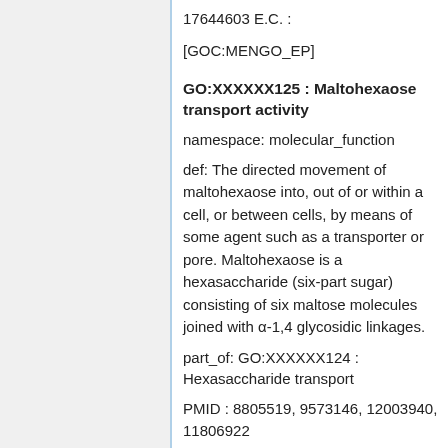17644603 E.C. :
[GOC:MENGO_EP]
GO:XXXXXX125 : Maltohexaose transport activity
namespace: molecular_function
def: The directed movement of maltohexaose into, out of or within a cell, or between cells, by means of some agent such as a transporter or pore. Maltohexaose is a hexasaccharide (six-part sugar) consisting of six maltose molecules joined with α-1,4 glycosidic linkages.
part_of: GO:XXXXXX124 : Hexasaccharide transport
PMID : 8805519, 9573146, 12003940, 11806922